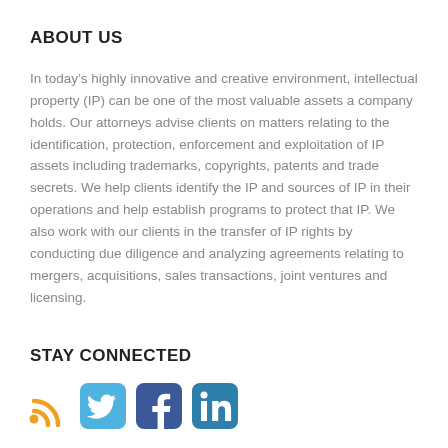ABOUT US
In today’s highly innovative and creative environment, intellectual property (IP) can be one of the most valuable assets a company holds. Our attorneys advise clients on matters relating to the identification, protection, enforcement and exploitation of IP assets including trademarks, copyrights, patents and trade secrets. We help clients identify the IP and sources of IP in their operations and help establish programs to protect that IP. We also work with our clients in the transfer of IP rights by conducting due diligence and analyzing agreements relating to mergers, acquisitions, sales transactions, joint ventures and licensing.
STAY CONNECTED
[Figure (infographic): Four social media icons: RSS feed (orange), Twitter (light blue), Facebook (blue), LinkedIn (teal/blue)]